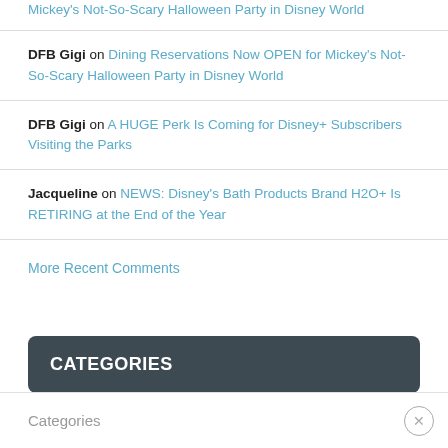Mickey's Not-So-Scary Halloween Party in Disney World
DFB Gigi on Dining Reservations Now OPEN for Mickey's Not-So-Scary Halloween Party in Disney World
DFB Gigi on A HUGE Perk Is Coming for Disney+ Subscribers Visiting the Parks
Jacqueline on NEWS: Disney's Bath Products Brand H2O+ Is RETIRING at the End of the Year
More Recent Comments
CATEGORIES
Categories